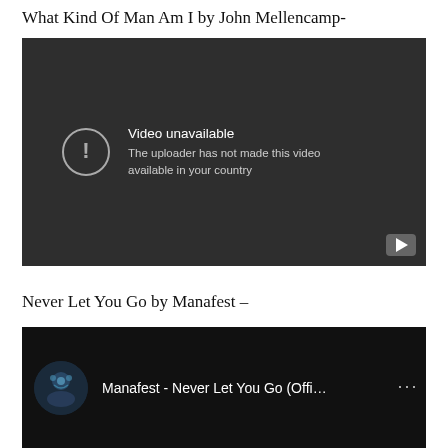What Kind Of Man Am I by John Mellencamp-
[Figure (screenshot): Embedded YouTube video player showing 'Video unavailable — The uploader has not made this video available in your country' error message on a dark background.]
Never Let You Go by Manafest –
[Figure (screenshot): Embedded YouTube video thumbnail showing Manafest - Never Let You Go (Offi... title with channel icon on dark background.]